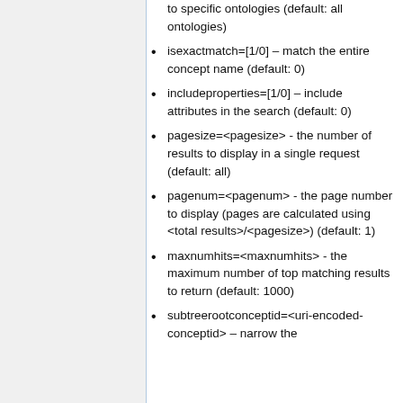to specific ontologies (default: all ontologies)
isexactmatch=[1/0] – match the entire concept name (default: 0)
includeproperties=[1/0] – include attributes in the search (default: 0)
pagesize=<pagesize> - the number of results to display in a single request (default: all)
pagenum=<pagenum> - the page number to display (pages are calculated using <total results>/<pagesize>) (default: 1)
maxnumhits=<maxnumhits> - the maximum number of top matching results to return (default: 1000)
subtreerootconceptid=<uri-encoded-conceptid> – narrow the